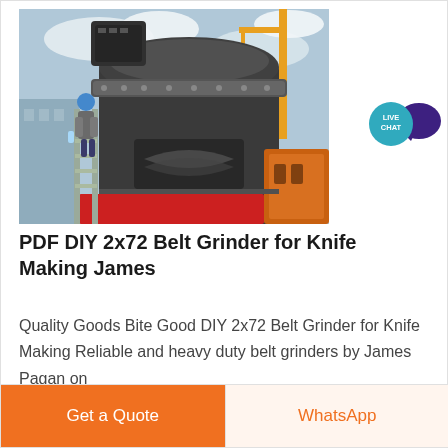[Figure (photo): Industrial grinder/mill machine being assembled outdoors, worker in blue hard hat climbing a ladder on the side of a large cylindrical dark grey machine, crane visible in background, cloudy sky]
[Figure (infographic): Live chat bubble badge — teal circle with LIVE CHAT text and dark purple speech bubble icon]
PDF DIY 2x72 Belt Grinder for Knife Making James
Quality Goods Bite Good DIY 2x72 Belt Grinder for Knife Making Reliable and heavy duty belt grinders by James Pagan on
Get a Quote
WhatsApp